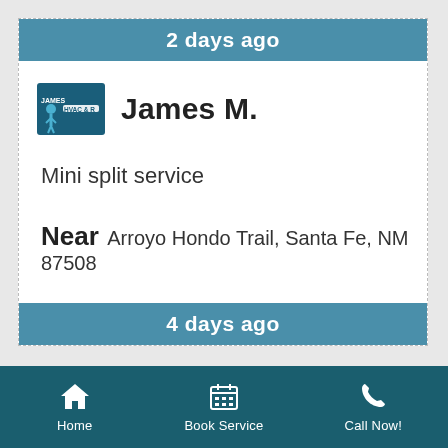2 days ago
[Figure (logo): James HVAC company logo — stylized figure with 'JAMES' text in blue]
James M.
Mini split service
Near Arroyo Hondo Trail, Santa Fe, NM 87508
4 days ago
Home   Book Service   Call Now!